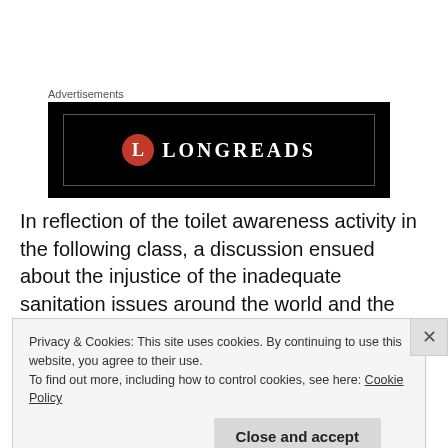Advertisements
[Figure (logo): Longreads advertisement banner with black background, red circle L logo and LONGREADS text in white]
In reflection of the toilet awareness activity in the following class, a discussion ensued about the injustice of the inadequate sanitation issues around the world and the students indicated at that time that they wanted to learn more about this issue. It was at this point that I could see the beginnings of a project that I had not planned. I asked
Privacy & Cookies: This site uses cookies. By continuing to use this website, you agree to their use.
To find out more, including how to control cookies, see here: Cookie Policy
Close and accept